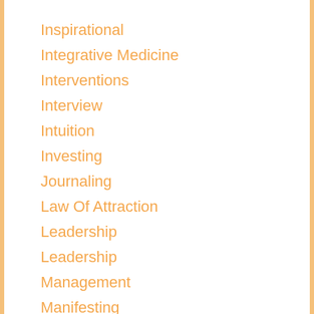Inspirational
Integrative Medicine
Interventions
Interview
Intuition
Investing
Journaling
Law Of Attraction
Leadership
Leadership
Management
Manifesting